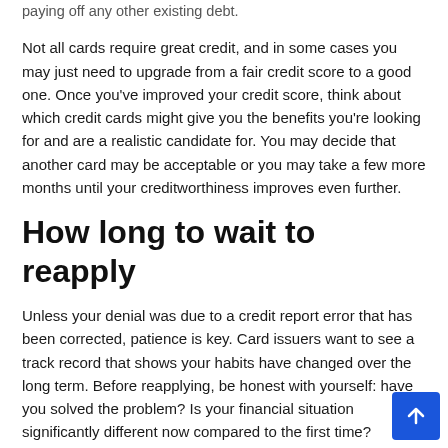paying off any other existing debt.
Not all cards require great credit, and in some cases you may just need to upgrade from a fair credit score to a good one. Once you've improved your credit score, think about which credit cards might give you the benefits you're looking for and are a realistic candidate for. You may decide that another card may be acceptable or you may take a few more months until your creditworthiness improves even further.
How long to wait to reapply
Unless your denial was due to a credit report error that has been corrected, patience is key. Card issuers want to see a track record that shows your habits have changed over the long term. Before reapplying, be honest with yourself: have you solved the problem? Is your financial situation significantly different now compared to the first time?
If you can answer yes to both questions, you may be ready t…